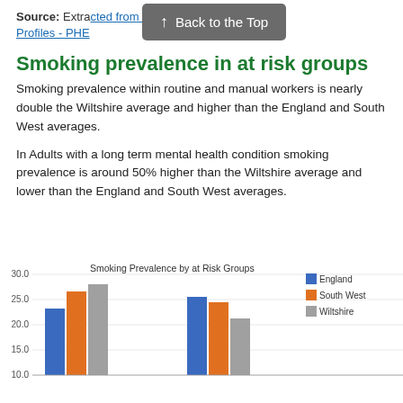Source: Extracted from Local Tobacco Control Profiles - PHE
Smoking prevalence in at risk groups
Smoking prevalence within routine and manual workers is nearly double the Wiltshire average and higher than the England and South West averages.
In Adults with a long term mental health condition smoking prevalence is around 50% higher than the Wiltshire average and lower than the England and South West averages.
[Figure (grouped-bar-chart): Smoking Prevalence by at Risk Groups]